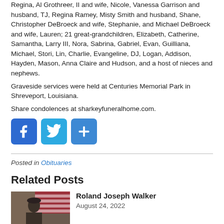Regina, Al Grothreer, II and wife, Nicole, Vanessa Garrison and husband, TJ, Regina Ramey, Misty Smith and husband, Shane, Christopher DeBroeck and wife, Stephanie, and Michael DeBroeck and wife, Lauren; 21 great-grandchildren, Elizabeth, Catherine, Samantha, Larry III, Nora, Sabrina, Gabriel, Evan, Guilliana, Michael, Stori, Lin, Charlie, Evangeline, DJ, Logan, Addison, Hayden, Mason, Anna Claire and Hudson, and a host of nieces and nephews.
Graveside services were held at Centuries Memorial Park in Shreveport, Louisiana.
Share condolences at sharkeyfuneralhome.com.
[Figure (other): Social sharing icons: Facebook (blue), Twitter (blue), and a share/plus button (blue)]
Posted in Obituaries
Related Posts
[Figure (photo): Photo of Roland Joseph Walker in military uniform with American flag in background]
Roland Joseph Walker
August 24, 2022